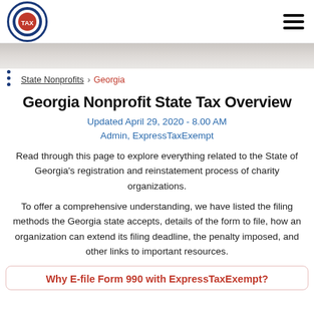Express Tax Exempt logo and navigation menu
[Figure (illustration): Banner/hero image with light gray textured background]
State Nonprofits › Georgia
Georgia Nonprofit State Tax Overview
Updated April 29, 2020 - 8.00 AM
Admin, ExpressTaxExempt
Read through this page to explore everything related to the State of Georgia's registration and reinstatement process of charity organizations.
To offer a comprehensive understanding, we have listed the filing methods the Georgia state accepts, details of the form to file, how an organization can extend its filing deadline, the penalty imposed, and other links to important resources.
Why E-file Form 990 with ExpressTaxExempt?